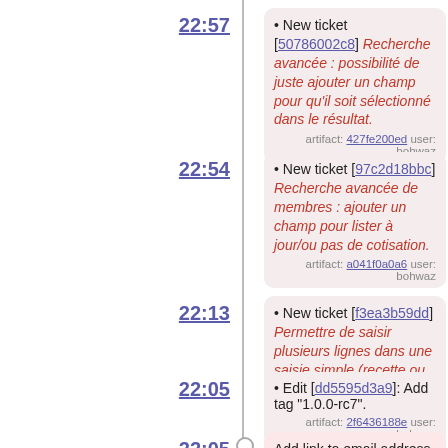22:57 • New ticket [50786002c8] Recherche avancée : possibilité de juste ajouter un champ pour qu'il soit sélectionné dans le résultat. artifact: 427fe200ed user: bohwaz
22:54 • New ticket [97c2d18bbc] Recherche avancée de membres : ajouter un champ pour lister à jour/ou pas de cotisation. artifact: a041f0a0a6 user: bohwaz
22:13 • New ticket [f3ea3b59dd] Permettre de saisir plusieurs lignes dans une saisie simple (recette ou dépense). artifact: bbd807dcf4 user: bohwaz
22:05 • Edit [dd5595d3a9]: Add tag "1.0.0-rc7". artifact: 2f6436188e user: bohwaz
22:05 Add link to email address in proteger_contact modifier check-in: dd5595d3a9 user: bohwaz tags: dev, 1.0.0-rc7